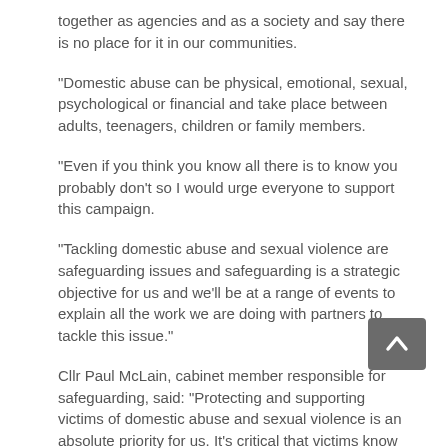together as agencies and as a society and say there is no place for it in our communities.
“Domestic abuse can be physical, emotional, sexual, psychological or financial and take place between adults, teenagers, children or family members.
“Even if you think you know all there is to know you probably don’t so I would urge everyone to support this campaign.
“Tackling domestic abuse and sexual violence are safeguarding issues and safeguarding is a strategic objective for us and we’ll be at a range of events to explain all the work we are doing with partners to tackle this issue.”
Cllr Paul McLain, cabinet member responsible for safeguarding, said: “Protecting and supporting victims of domestic abuse and sexual violence is an absolute priority for us. It’s critical that victims know that there is support and advice out there.
“We would encourage everyone to get on board with this campaign. Please help us to take a stand against domestic abuse and sexual